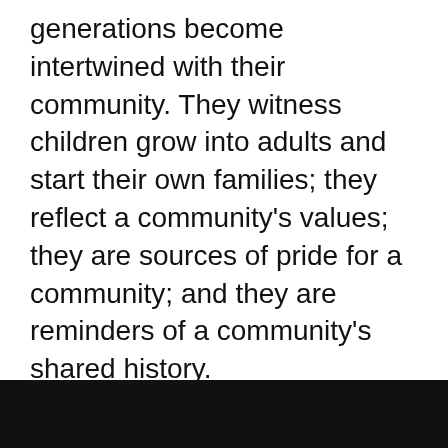generations become intertwined with their community. They witness children grow into adults and start their own families; they reflect a community’s values; they are sources of pride for a community; and they are reminders of a community’s shared history.
“Over the years, we’ve been something like a watering hole for the neighborhood,” Dorothy reflects. “I think this is where our legacy is.”